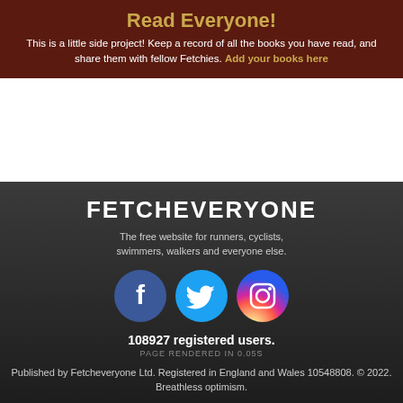Read Everyone!
This is a little side project! Keep a record of all the books you have read, and share them with fellow Fetchies. Add your books here
FETCHEVERYONE
The free website for runners, cyclists, swimmers, walkers and everyone else.
[Figure (logo): Facebook, Twitter, and Instagram social media circular icons]
108927 registered users.
PAGE RENDERED IN 0.05s
Published by Fetcheveryone Ltd. Registered in England and Wales 10548808. © 2022. Breathless optimism.
Help | Suggest A Feature | Terms | Privacy | Cookies | Affiliates | Wiki
[Figure (photo): A strip of user profile photos at the bottom of the page]